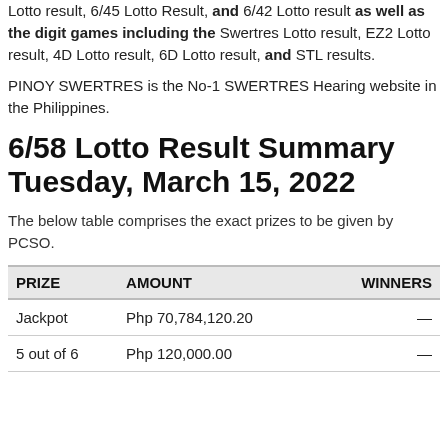Lotto result, 6/45 Lotto Result, and 6/42 Lotto result as well as the digit games including the Swertres Lotto result, EZ2 Lotto result, 4D Lotto result, 6D Lotto result, and STL results.
PINOY SWERTRES is the No-1 SWERTRES Hearing website in the Philippines.
6/58 Lotto Result Summary Tuesday, March 15, 2022
The below table comprises the exact prizes to be given by PCSO.
| PRIZE | AMOUNT | WINNERS |
| --- | --- | --- |
| Jackpot | Php 70,784,120.20 | — |
| 5 out of 6 | Php 120,000.00 | — |